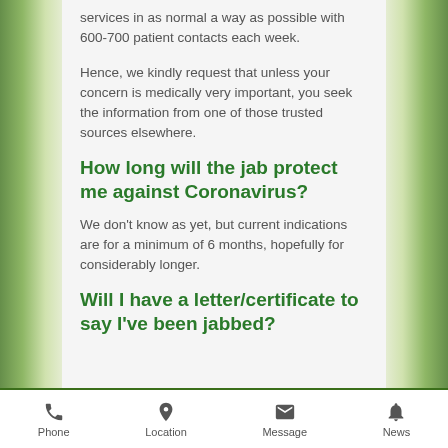services in as normal a way as possible with 600-700 patient contacts each week.
Hence, we kindly request that unless your concern is medically very important, you seek the information from one of those trusted sources elsewhere.
How long will the jab protect me against Coronavirus?
We don't know as yet, but current indications are for a minimum of 6 months, hopefully for considerably longer.
Will I have a letter/certificate to say I've been jabbed?
Phone  Location  Message  News